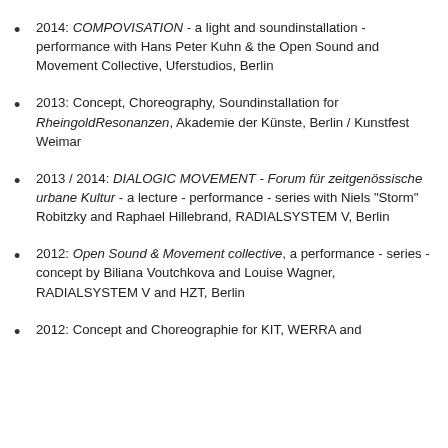2014: COMPOVISATION - a light and soundinstallation - performance with Hans Peter Kuhn & the Open Sound and Movement Collective, Uferstudios, Berlin
2013: Concept, Choreography, Soundinstallation for RheingoldResonanzen, Akademie der Künste, Berlin / Kunstfest Weimar
2013 / 2014: DIALOGIC MOVEMENT - Forum für zeitgenössische urbane Kultur - a lecture - performance - series with Niels "Storm" Robitzky and Raphael Hillebrand, RADIALSYSTEM V, Berlin
2012: Open Sound & Movement collective, a performance - series - concept by Biliana Voutchkova and Louise Wagner, RADIALSYSTEM V and HZT, Berlin
2012: Concept and Choreographie for KIT, WERRA and